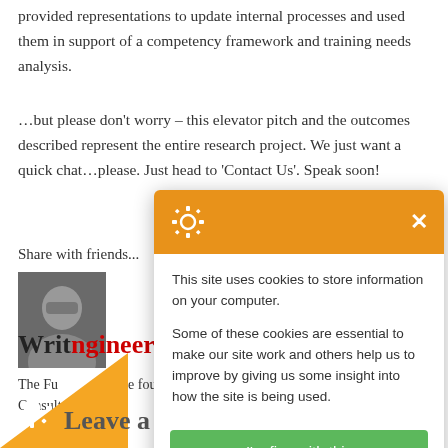provided representations to update internal processes and used them in support of a competency framework and training needs analysis.
…but please don't worry – this elevator pitch and the outcomes described represent the entire research project.  We just want a quick chat…please.  Just head to 'Contact Us'.  Speak soon!
Share with friends...
[Figure (photo): Author headshot photo]
Written by an Engineer
The Fu... he founder of the compa... independent Consultant, and a C...
Co...
[Figure (infographic): Cookie consent modal dialog with orange header containing gear/cookie icon, X close button, body text about cookies, and green 'I'm fine with this' button]
Leave a Reply